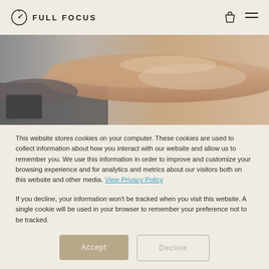FULL FOCUS
[Figure (photo): Close-up photo of hands clasped together on a dark surface, warm tones]
This website stores cookies on your computer. These cookies are used to collect information about how you interact with our website and allow us to remember you. We use this information in order to improve and customize your browsing experience and for analytics and metrics about our visitors both on this website and other media. View Privacy Policy
If you decline, your information won't be tracked when you visit this website. A single cookie will be used in your browser to remember your preference not to be tracked.
Accept
Decline